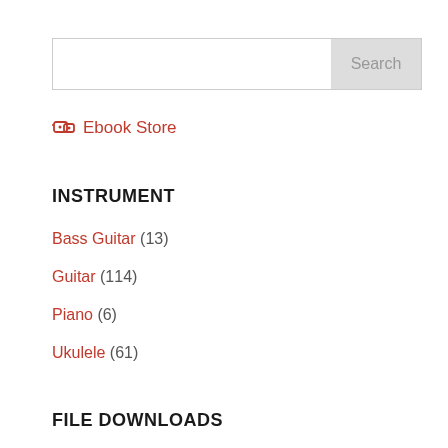[Figure (screenshot): Search input field with Search button]
🏷 Ebook Store
INSTRUMENT
Bass Guitar (13)
Guitar (114)
Piano (6)
Ukulele (61)
FILE DOWNLOADS